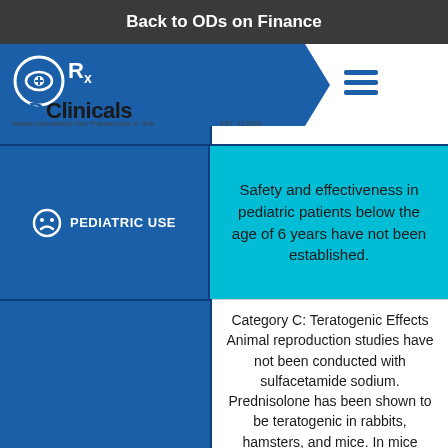Back to ODs on Finance
[Figure (logo): ODClinicals logo with eye/Rx icon, blue hexagon arrow shape, tagline 'Helping Optometrists Own Pharmacology to Time', EST. 11/2020]
PEDIATRIC USE
Safety and effectiveness in pediatric patients below the age of 6 years have not been established.
Category C: Teratogenic Effects Animal reproduction studies have not been conducted with sulfacetamide sodium. Prednisolone has been shown to be teratogenic in rabbits, hamsters, and mice. In mice